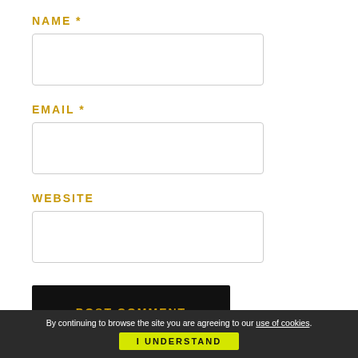NAME *
[Figure (other): Empty text input field for Name]
EMAIL *
[Figure (other): Empty text input field for Email]
WEBSITE
[Figure (other): Empty text input field for Website]
POST COMMENT
By continuing to browse the site you are agreeing to our use of cookies.
I UNDERSTAND